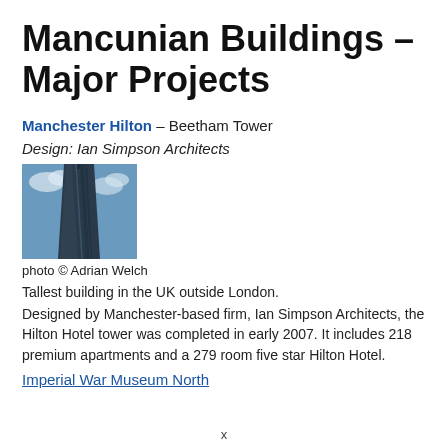Mancunian Buildings – Major Projects
Manchester Hilton – Beetham Tower
Design: Ian Simpson Architects
[Figure (photo): Photograph of the Beetham Tower (Manchester Hilton), a tall glass skyscraper shot from below against a blue sky with clouds.]
photo © Adrian Welch
Tallest building in the UK outside London.
Designed by Manchester-based firm, Ian Simpson Architects, the Hilton Hotel tower was completed in early 2007. It includes 218 premium apartments and a 279 room five star Hilton Hotel.
Imperial War Museum North